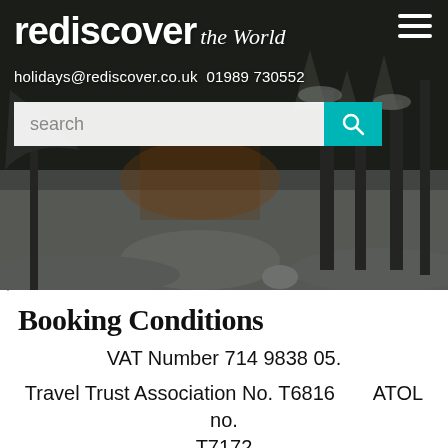[Figure (photo): Winter snow scene with trees, a lit building, and snow on the ground, with the Rediscover the World website header overlay including logo, contact info, and search bar.]
Booking Conditions
VAT Number 714 9838 05.
Travel Trust Association No. T6816       ATOL no. T7172